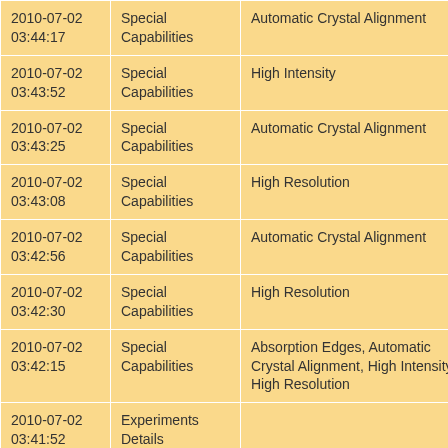| Date/Time | Category | Capability | Other |
| --- | --- | --- | --- |
| 2010-07-02 03:44:17 | Special Capabilities | Automatic Crystal Alignment | Automati… |
| 2010-07-02 03:43:52 | Special Capabilities | High Intensity | Automati… |
| 2010-07-02 03:43:25 | Special Capabilities | Automatic Crystal Alignment | High Inte… |
| 2010-07-02 03:43:08 | Special Capabilities | High Resolution | Automati… |
| 2010-07-02 03:42:56 | Special Capabilities | Automatic Crystal Alignment | High Res… |
| 2010-07-02 03:42:30 | Special Capabilities | High Resolution | Automati… |
| 2010-07-02 03:42:15 | Special Capabilities | Absorption Edges, Automatic Crystal Alignment, High Intensity, High Resolution | High Res… |
| 2010-07-02 03:41:52 | Experiments Details |  |  |